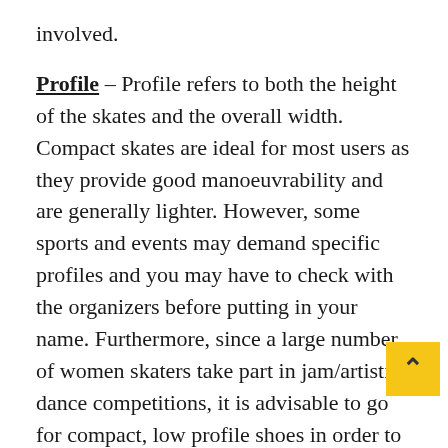involved.
Profile – Profile refers to both the height of the skates and the overall width. Compact skates are ideal for most users as they provide good manoeuvrability and are generally lighter. However, some sports and events may demand specific profiles and you may have to check with the organizers before putting in your name. Furthermore, since a large number of women skaters take part in jam/artistic dance competitions, it is advisable to go for compact, low profile shoes in order to maintain sufficient balance while performing complex dance steps.
Size – As for as women skaters are